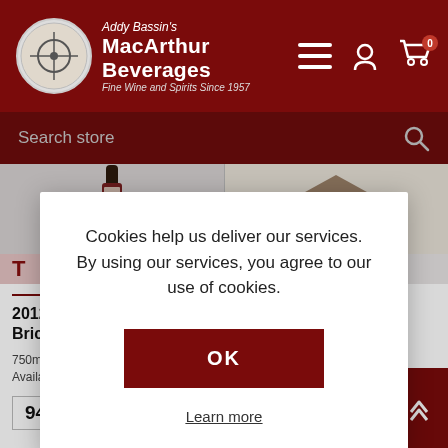Addy Bassin's MacArthur Beverages Fine Wine and Spirits Since 1957
Search store
[Figure (screenshot): Wine bottle product image - 2012 Ceretto Barolo Bricco Rocche]
[Figure (screenshot): Chateau/winery illustration image - 2004 Chateau Ausone St. Emilion]
Cookies help us deliver our services. By using our services, you agree to our use of cookies.
OK
Learn more
2012 Ceretto - Barolo Bricco Rocche
750ml | SKU 78532 | 3 Available
94 WS
2004 Chateau Ausone - St. Emilion
750ml | SKU 42488 | 1 Available
94+ WA